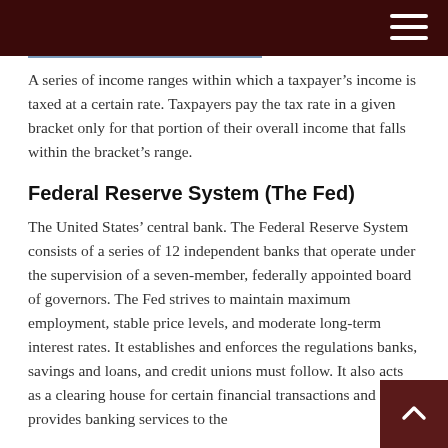A series of income ranges within which a taxpayer's income is taxed at a certain rate. Taxpayers pay the tax rate in a given bracket only for that portion of their overall income that falls within the bracket's range.
Federal Reserve System (The Fed)
The United States' central bank. The Federal Reserve System consists of a series of 12 independent banks that operate under the supervision of a seven-member, federally appointed board of governors. The Fed strives to maintain maximum employment, stable price levels, and moderate long-term interest rates. It establishes and enforces the regulations banks, savings and loans, and credit unions must follow. It also acts as a clearing house for certain financial transactions and provides banking services to the